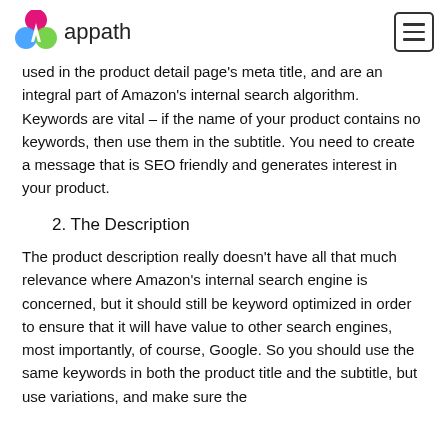appath
used in the product detail page’s meta title, and are an integral part of Amazon’s internal search algorithm. Keywords are vital – if the name of your product contains no keywords, then use them in the subtitle. You need to create a message that is SEO friendly and generates interest in your product.
2. The Description
The product description really doesn’t have all that much relevance where Amazon’s internal search engine is concerned, but it should still be keyword optimized in order to ensure that it will have value to other search engines, most importantly, of course, Google. So you should use the same keywords in both the product title and the subtitle, but use variations, and make sure the